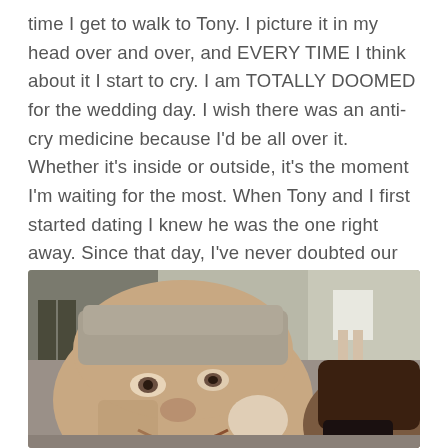time I get to walk to Tony. I picture it in my head over and over, and EVERY TIME I think about it I start to cry. I am TOTALLY DOOMED for the wedding day. I wish there was an anti-cry medicine because I'd be all over it. Whether it's inside or outside, it's the moment I'm waiting for the most. When Tony and I first started dating I knew he was the one right away. Since that day, I've never doubted our relationship once. It's always been right and always will be.
[Figure (photo): A close-up selfie photo of a man with short gray/light hair smiling, with another person (dark hair) leaning in close on the right side, taken outdoors with people visible in the background.]